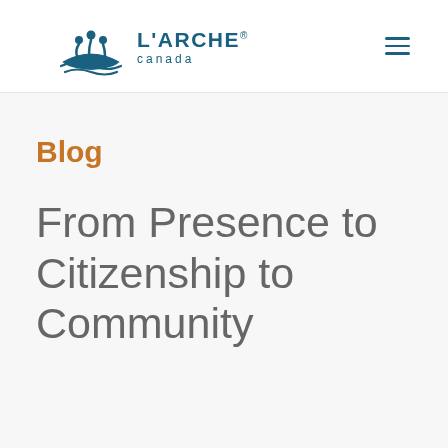[Figure (logo): L'Arche Canada logo with boat and three figures icon in teal/blue, text reads L'ARCHE canada]
Blog
From Presence to Citizenship to Community